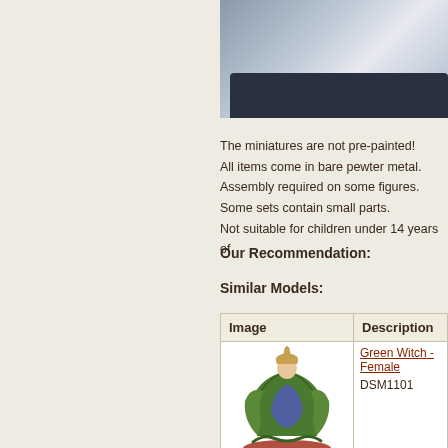[Figure (photo): Partial view of a miniature figure on dark base, cropped at top of page]
The miniatures are not pre-painted!
All items come in bare pewter metal.
Assembly required on some figures.
Some sets contain small parts.
Not suitable for children under 14 years of
Our Recommendation:
Similar Models:
| Image | Description |
| --- | --- |
| [Green Witch figure image] | Green Witch - Female
DSM1101 |
|  | Ravenstone - Female
DSM1107 |